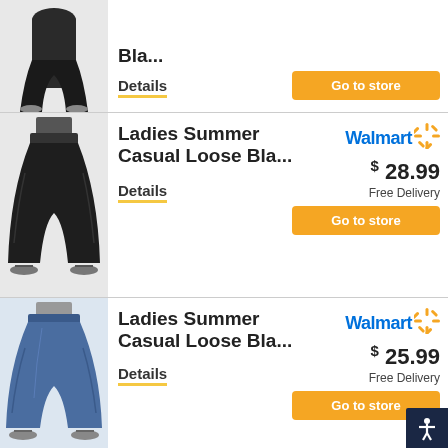[Figure (photo): Partial view of woman wearing black wide-leg casual pants, only lower body visible]
Bla...
Details
[Figure (photo): Woman wearing black wide-leg casual loose pants, full length view]
Ladies Summer Casual Loose Bla...
$28.99
Free Delivery
Go to store
Details
[Figure (photo): Woman wearing blue/denim wide-leg casual loose pants, full length view]
Ladies Summer Casual Loose Bla...
$25.99
Free Delivery
Go to store
Details